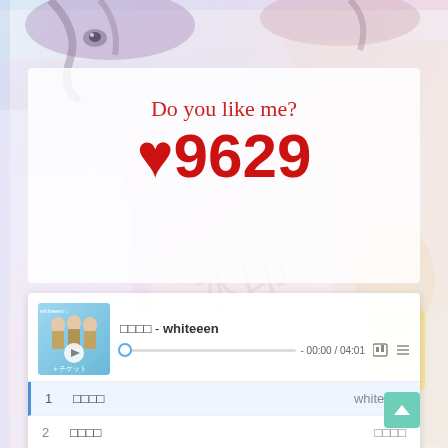[Figure (illustration): Anime-style illustration background with characters, soft pastel colors]
Do you like me?
♥9629
[Figure (screenshot): Music player UI showing album art for whiteeen, song title in Japanese with - whiteeen, progress bar at 00:00 / 04:01, playlist with 3 tracks: 1. Japanese title - whiteeen, 2. Japanese title - Japanese artist, 3. YELL - Naomile]
| # | Title | Artist |
| --- | --- | --- |
| 1 | □□□□ | whiteeen |
| 2 | □□□□ | □□□□ |
| 3 | YELL | Naomile |